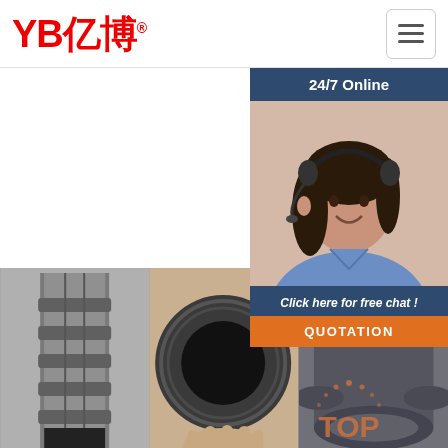[Figure (logo): YB亿博 logo in red with registered trademark symbol]
[Figure (screenshot): Navigation hamburger menu button]
flexible. Yellow with Blue strip. PVC/PU Abrasion resistant cover.
through certain lines
[Figure (infographic): 24/7 Online customer service chat popup with woman wearing headset. Includes 'Click here for free chat!' text and orange QUOTATION button.]
Get Price
G
[Figure (photo): Industrial hose metal fitting close-up photograph]
[Figure (photo): Source Risd Cold Weather hose photograph showing black rubber hose end]
[Figure (photo): Weather Resistant pipes/hoses stacked photograph showing dark grey pipes]
Industrial Hoses From
Source Risd Cold Weather
Weather Resistant